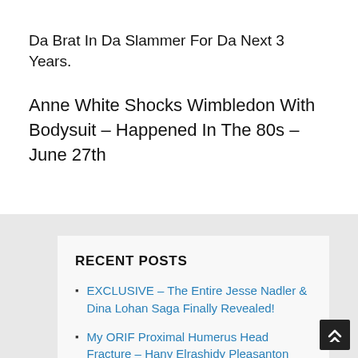Da Brat In Da Slammer For Da Next 3 Years.
Anne White Shocks Wimbledon With Bodysuit – Happened In The 80s – June 27th
RECENT POSTS
EXCLUSIVE – The Entire Jesse Nadler & Dina Lohan Saga Finally Revealed!
My ORIF Proximal Humerus Head Fracture – Hany Elrashidy Pleasanton
Pleasanton, CA Man Left For Dead In